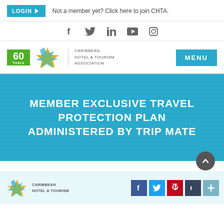LOGIN  Not a member yet? Click here to join CHTA.
[Figure (screenshot): Social media icons row: Facebook, Twitter, LinkedIn, YouTube, Instagram]
Caribbean Hotel & Tourism Association — 60 Years logo and MENU button
MEMBER EXCLUSIVE TRAVEL PROTECTION PLAN ADMINISTERED BY TRIP MATE
[Figure (logo): Bottom footer area with CHTA star logo, Caribbean Hotel & Tourism text, and social sharing icons: Facebook, Twitter, Pinterest, Tumblr, plus button]